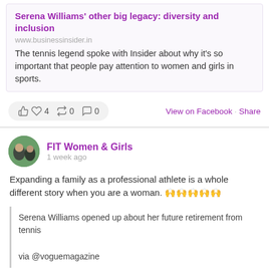Serena Williams' other big legacy: diversity and inclusion
www.businessinsider.in
The tennis legend spoke with Insider about why it's so important that people pay attention to women and girls in sports.
👍 ❤ 4   ↪ 0   💬 0   View on Facebook · Share
FIT Women & Girls
1 week ago
Expanding a family as a professional athlete is a whole different story when you are a woman. 🙌🙌🙌🙌🙌
Serena Williams opened up about her future retirement from tennis

via @voguemagazine
[Figure (photo): Photo of Serena Williams on a tennis court, wearing a dark Nike outfit, with a blurred background figure in blue cap]